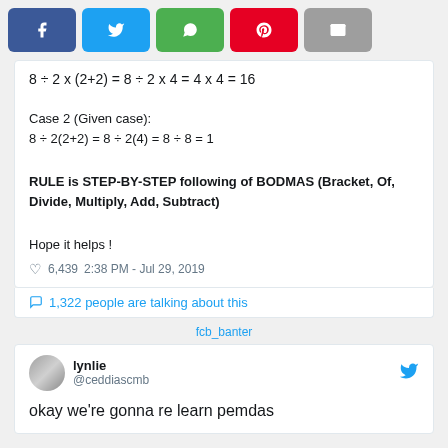[Figure (screenshot): Social share buttons: Facebook, Twitter, WhatsApp, Pinterest, Email]
Case 2 (Given case):
RULE is STEP-BY-STEP following of BODMAS (Bracket, Of, Divide, Multiply, Add, Subtract)
Hope it helps !
♡ 6,439  2:38 PM - Jul 29, 2019
1,322 people are talking about this
fcb_banter
lynlie @ceddiascmb
okay we're gonna re learn pemdas